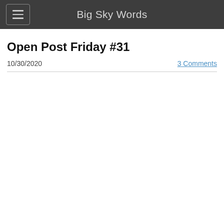Big Sky Words
Open Post Friday #31
10/30/2020
3 Comments